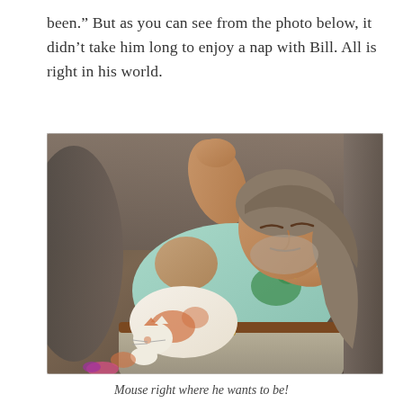been.” But as you can see from the photo below, it didn’t take him long to enjoy a nap with Bill. All is right in his world.
[Figure (photo): A middle-aged man with gray-streaked long hair sleeping on a brown leather sofa, wearing a light blue tank top and khaki pants with a brown belt. A white and orange cat (Mouse) is curled up on his chest/stomach, also sleeping.]
Mouse right where he wants to be!